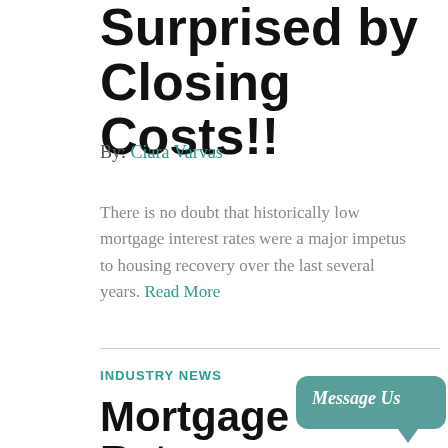Surprised by Closing Costs!!
By: Ciara Varvas
There is no doubt that historically low mortgage interest rates were a major impetus to housing recovery over the last several years. Read More
INDUSTRY NEWS
Mortgage Rates Impact on 2017